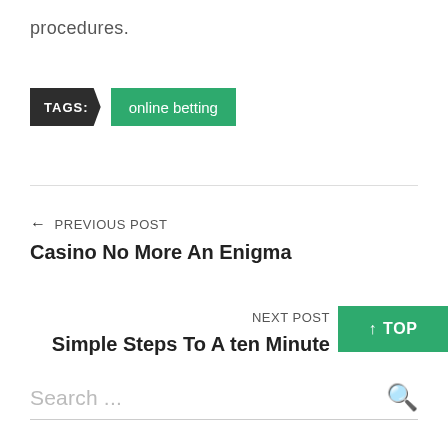procedures.
TAGS: online betting
← PREVIOUS POST
Casino No More An Enigma
NEXT POST
Simple Steps To A ten Minute
↑ TOP
Search ...